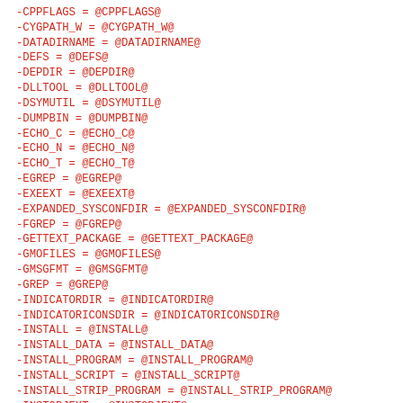-CPPFLAGS = @CPPFLAGS@
-CYGPATH_W = @CYGPATH_W@
-DATADIRNAME = @DATADIRNAME@
-DEFS = @DEFS@
-DEPDIR = @DEPDIR@
-DLLTOOL = @DLLTOOL@
-DSYMUTIL = @DSYMUTIL@
-DUMPBIN = @DUMPBIN@
-ECHO_C = @ECHO_C@
-ECHO_N = @ECHO_N@
-ECHO_T = @ECHO_T@
-EGREP = @EGREP@
-EXEEXT = @EXEEXT@
-EXPANDED_SYSCONFDIR = @EXPANDED_SYSCONFDIR@
-FGREP = @FGREP@
-GETTEXT_PACKAGE = @GETTEXT_PACKAGE@
-GMOFILES = @GMOFILES@
-GMSGFMT = @GMSGFMT@
-GREP = @GREP@
-INDICATORDIR = @INDICATORDIR@
-INDICATORICONSDIR = @INDICATORICONSDIR@
-INSTALL = @INSTALL@
-INSTALL_DATA = @INSTALL_DATA@
-INSTALL_PROGRAM = @INSTALL_PROGRAM@
-INSTALL_SCRIPT = @INSTALL_SCRIPT@
-INSTALL_STRIP_PROGRAM = @INSTALL_STRIP_PROGRAM@
-INSTOBJEXT = @INSTOBJEXT@
-INTLLIBS = @INTLLIBS@
-INTLTOOL_EXTRACT = @INTLTOOL_EXTRACT@
-INTLTOOL_MERGE = @INTLTOOL_MERGE@